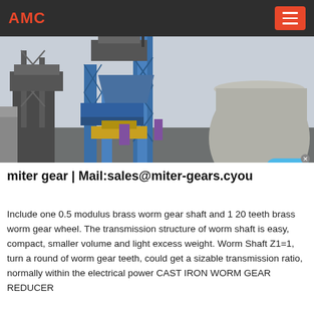AMC
[Figure (photo): Industrial machinery photo showing large blue steel structures and towers at a manufacturing or mining facility, with a round gray building on the right side.]
miter gear | Mail:sales@miter-gears.cyou
Include one 0.5 modulus brass worm gear shaft and 1 20 teeth brass worm gear wheel. The transmission structure of worm shaft is easy, compact, smaller volume and light excess weight. Worm Shaft Z1=1, turn a round of worm gear teeth, could get a sizable transmission ratio, normally within the electrical power CAST IRON WORM GEAR REDUCER